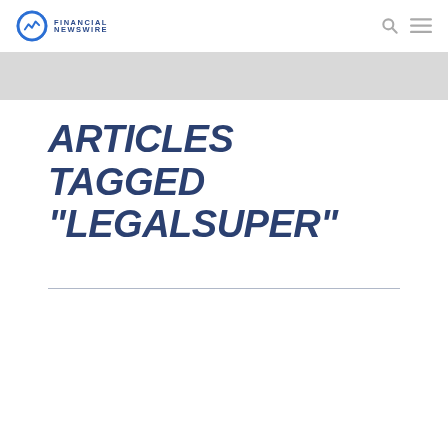Financial Newswire
ARTICLES TAGGED "LEGALSUPER"